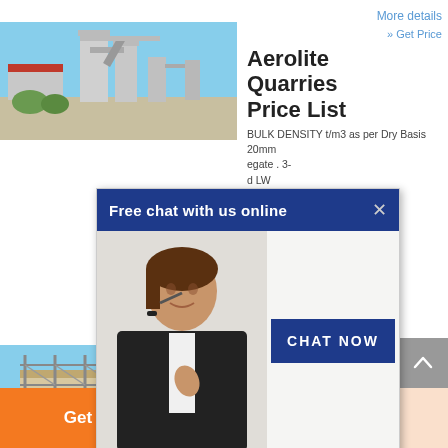More details
» Get Price
[Figure (photo): Industrial grinding/milling equipment with large silos and metal piping against blue sky]
Aerolite Quarries Price List
BULK DENSITY t/m3 as per Dry Basis. 20mm egate. 3- d LW ...
tone – STAR BLACK.
[Figure (screenshot): Free chat with us online popup overlay with a woman wearing a headset and a CHAT NOW button]
More details
» Get Price
[Figure (photo): Construction scaffolding on a building under blue sky]
DSR 2012 - CPWD